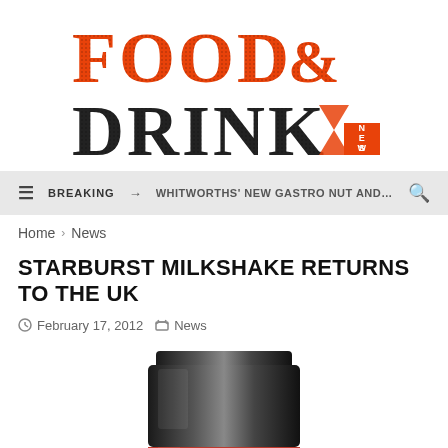[Figure (logo): Food & Drink News logo — 'FOOD&' in orange serif display font, 'DRINK' in dark serif display font with a red 'NEWS' badge]
≡  BREAKING →  WHITWORTHS' NEW GASTRO NUT AND T...  🔍
Home > News
STARBURST MILKSHAKE RETURNS TO THE UK
February 17, 2012  News
[Figure (photo): Close-up of a Starburst milkshake bottle cap — black lid on top of a red ridged bottle neck, cropped at the bottom of the page]